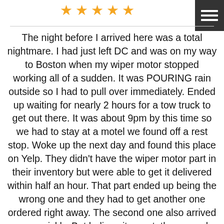[Figure (other): Five gold/orange star rating icons in a row]
The night before I arrived here was a total nightmare. I had just left DC and was on my way to Boston when my wiper motor stopped working all of a sudden. It was POURING rain outside so I had to pull over immediately. Ended up waiting for nearly 2 hours for a tow truck to get out there. It was about 9pm by this time so we had to stay at a motel we found off a rest stop. Woke up the next day and found this place on Yelp. They didn't have the wiper motor part in their inventory but were able to get it delivered within half an hour. That part ended up being the wrong one and they had to get another one ordered right away. The second one also arrived very quickly. But believe it or not, the second one turned out to be defective because its internal switch wasn't properly working (the wipers would stop in the middle instead of all the way at the end). This obviously occurred through no fault of the shops but